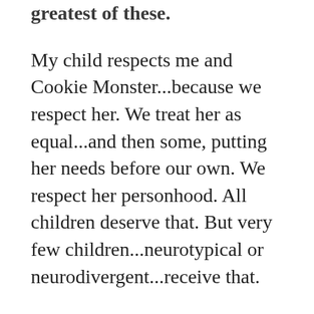greatest of these.
My child respects me and Cookie Monster...because we respect her. We treat her as equal...and then some, putting her needs before our own. We respect her personhood. All children deserve that. But very few children...neurotypical or neurodivergent...receive that.
The bottom line truth is...the issue is a parenting style. Unfortunately, the predominant one. One that debases and even dehumanizes ALL children. If you think that the neuroptypical siblings with those same parents fair any better? Well, ask them. Ask